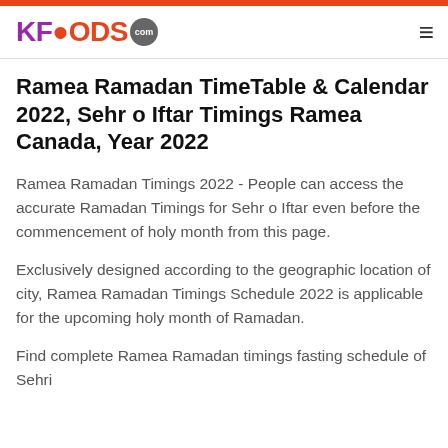KFOODS.com
Ramea Ramadan TimeTable & Calendar 2022, Sehr o Iftar Timings Ramea Canada, Year 2022
Ramea Ramadan Timings 2022 - People can access the accurate Ramadan Timings for Sehr o Iftar even before the commencement of holy month from this page.
Exclusively designed according to the geographic location of city, Ramea Ramadan Timings Schedule 2022 is applicable for the upcoming holy month of Ramadan.
Find complete Ramea Ramadan timings fasting schedule of Sehri